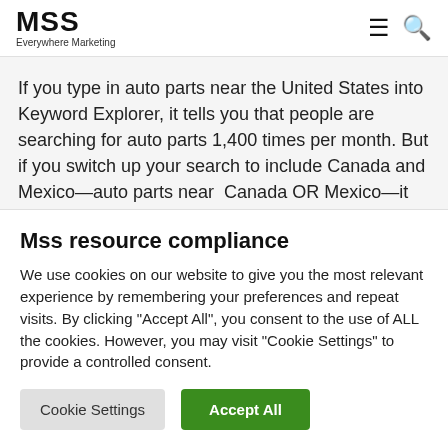MSS Everywhere Marketing
If you type in auto parts near the United States into Keyword Explorer, it tells you that people are searching for auto parts 1,400 times per month. But if you switch up your search to include Canada and Mexico—auto parts near Canada OR Mexico—it tells you that people are searching for auto parts 2,800
Mss resource compliance
We use cookies on our website to give you the most relevant experience by remembering your preferences and repeat visits. By clicking "Accept All", you consent to the use of ALL the cookies. However, you may visit "Cookie Settings" to provide a controlled consent.